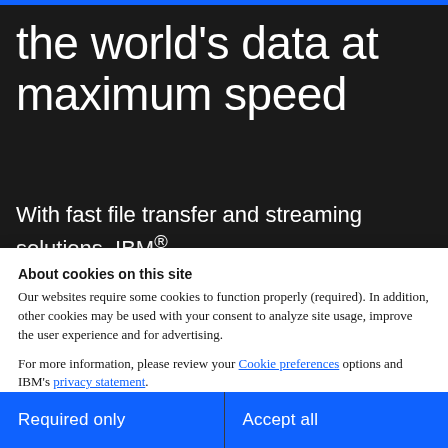the world's data at maximum speed
With fast file transfer and streaming solutions, IBM®
About cookies on this site
Our websites require some cookies to function properly (required). In addition, other cookies may be used with your consent to analyze site usage, improve the user experience and for advertising.

For more information, please review your Cookie preferences options and IBM's privacy statement.
Required only
Accept all